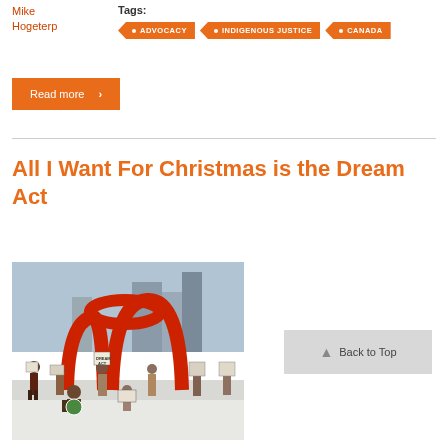Mike Hogeterp
Tags: ADVOCACY  INDIGENOUS JUSTICE  CANADA
Read more →
All I Want For Christmas is the Dream Act
[Figure (photo): Group of protesters standing in snow holding signs including 'DREAM ACT', in front of a large red sculpture/arch structure outdoors in winter.]
Back to Top